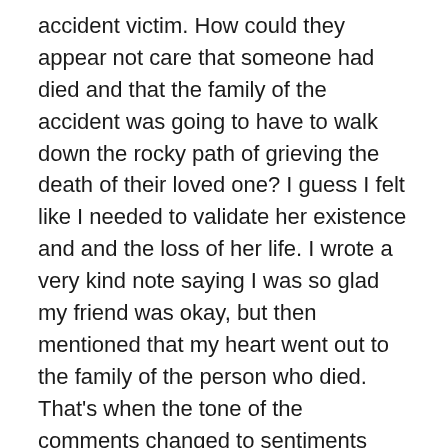accident victim. How could they appear not care that someone had died and that the family of the accident was going to have to walk down the rocky path of grieving the death of their loved one? I guess I felt like I needed to validate her existence and and the loss of her life. I wrote a very kind note saying I was so glad my friend was okay, but then mentioned that my heart went out to the family of the person who died. That’s when the tone of the comments changed to sentiments regarding the victim and how sad it was that she had died. I noticed this morning that the original post and thread have been deleted entirely.
As I’ve mentioned before, I know that I react to traffic accidents differently than most people do, simply because Jason died in a traffic accident. The sound of sirens and the sight of emergency vehicles surrounding an